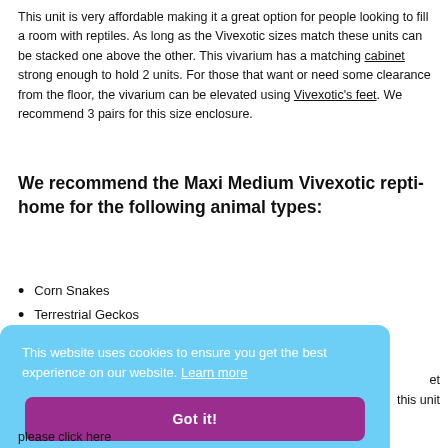This unit is very affordable making it a great option for people looking to fill a room with reptiles. As long as the Vivexotic sizes match these units can be stacked one above the other. This vivarium has a matching cabinet strong enough to hold 2 units. For those that want or need some clearance from the floor, the vivarium can be elevated using Vivexotic's feet. We recommend 3 pairs for this size enclosure.
We recommend the Maxi Medium Vivexotic repti-home for the following animal types:
Corn Snakes
Terrestrial Geckos
This website uses cookies to ensure you get the best experience on our website. Learn more
Got it!
et
this unit
please click here